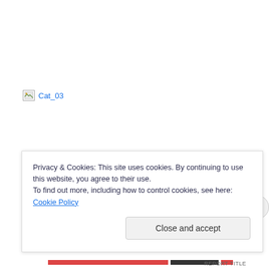[Figure (other): Broken image placeholder icon with alt text 'Cat_03']
Privacy & Cookies: This site uses cookies. By continuing to use this website, you agree to their use.
To find out more, including how to control cookies, see here: Cookie Policy
Close and accept